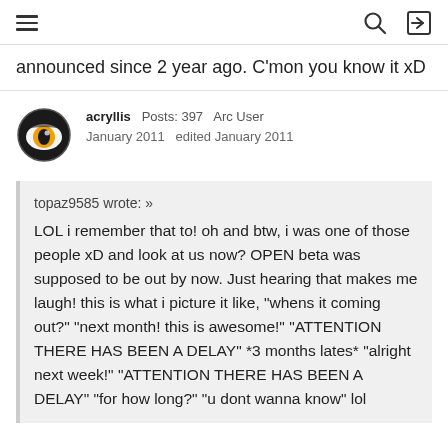[hamburger menu] [search icon] [login icon]
announced since 2 year ago. C'mon you know it xD
acryllis  Posts: 397  Arc User
January 2011  edited January 2011
topaz9585 wrote: »
LOL i remember that to! oh and btw, i was one of those people xD and look at us now? OPEN beta was supposed to be out by now. Just hearing that makes me laugh! this is what i picture it like, "whens it coming out?" "next month! this is awesome!" "ATTENTION THERE HAS BEEN A DELAY" *3 months lates* "alright next week!" "ATTENTION THERE HAS BEEN A DELAY" "for how long?" "u dont wanna know" lol